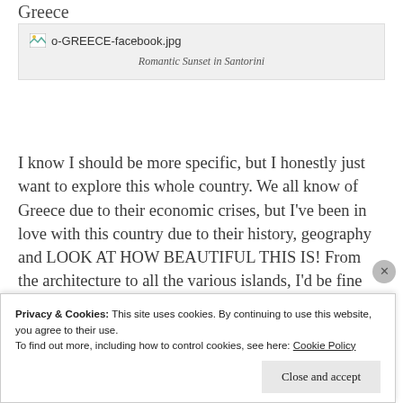Greece
[Figure (photo): Broken image placeholder showing filename 'o-GREECE-facebook.jpg' with caption 'Romantic Sunset in Santorini']
Romantic Sunset in Santorini
I know I should be more specific, but I honestly just want to explore this whole country. We all know of Greece due to their economic crises, but I’ve been in love with this country due to their history, geography and LOOK AT HOW BEAUTIFUL THIS IS! From the architecture to all the various islands, I’d be fine with spending the rest of my life exploring this country. I’d
Privacy & Cookies: This site uses cookies. By continuing to use this website, you agree to their use.
To find out more, including how to control cookies, see here: Cookie Policy